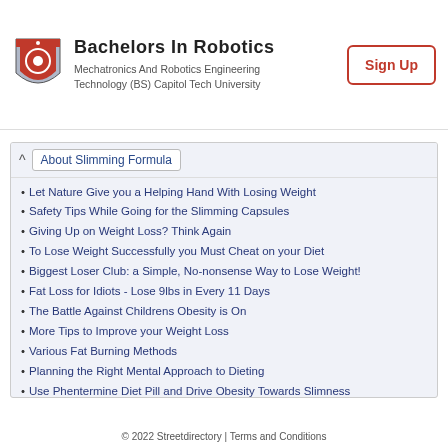[Figure (logo): Capitol Tech University shield logo with red and white design]
Bachelors In Robotics
Mechatronics And Robotics Engineering Technology (BS) Capitol Tech University
Sign Up
About Slimming Formula
Let Nature Give you a Helping Hand With Losing Weight
Safety Tips While Going for the Slimming Capsules
Giving Up on Weight Loss? Think Again
To Lose Weight Successfully you Must Cheat on your Diet
Biggest Loser Club: a Simple, No-nonsense Way to Lose Weight!
Fat Loss for Idiots - Lose 9lbs in Every 11 Days
The Battle Against Childrens Obesity is On
More Tips to Improve your Weight Loss
Various Fat Burning Methods
Planning the Right Mental Approach to Dieting
Use Phentermine Diet Pill and Drive Obesity Towards Slimness
Food Addiction: Is It Real?
What Gastric Bypass Surgeons Dont Want You To Find Out!
» More on Lose Weight
© 2022 Streetdirectory | Terms and Conditions